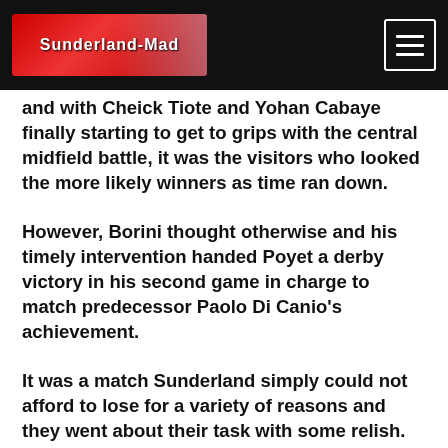Sunderland-Mad
and with Cheick Tiote and Yohan Cabaye finally starting to get to grips with the central midfield battle, it was the visitors who looked the more likely winners as time ran down.
However, Borini thought otherwise and his timely intervention handed Poyet a derby victory in his second game in charge to match predecessor Paolo Di Canio's achievement.
It was a match Sunderland simply could not afford to lose for a variety of reasons and they went about their task with some relish.